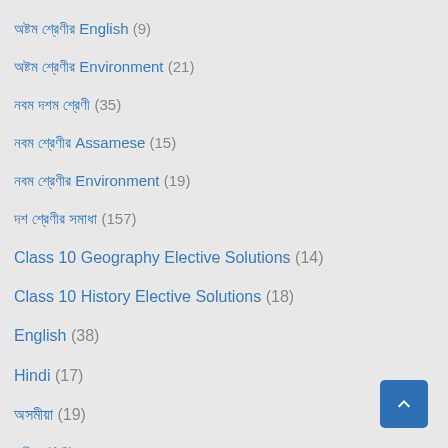অষ্টম শ্রেণীর English (9)
অষ্টম শ্রেণীর Environment (21)
নবম দশম শ্রেণী (35)
নবম শ্রেণীর Assamese (15)
নবম শ্রেণীর Environment (19)
দশ শ্রেণীর সমাধা (157)
Class 10 Geography Elective Solutions (14)
Class 10 History Elective Solutions (18)
English (38)
Hindi (17)
অসমীয়া (19)
গণিত (16)